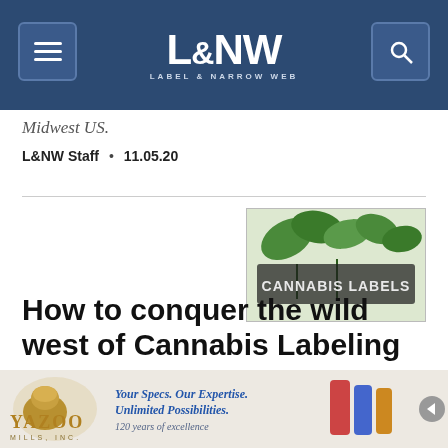L&NW Label & Narrow Web
Midwest US.
L&NW Staff • 11.05.20
[Figure (photo): Cannabis Labels banner image showing cannabis leaves and label rolls with text CANNABIS LABELS]
How to conquer the wild west of Cannabis Labeling
...
[Figure (logo): Yazoo Mills Inc. advertisement: Your Specs. Our Expertise. Unlimited Possibilities. 120 years of excellence, with rolls of labels and lion logo]